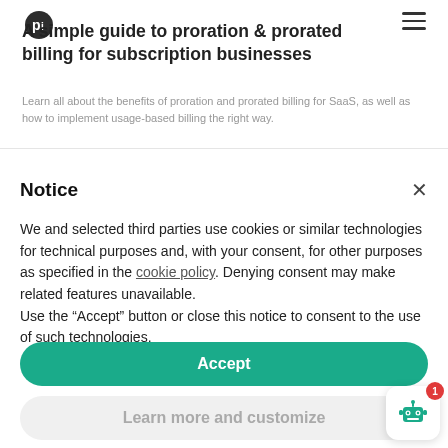A simple guide to proration & prorated billing for subscription businesses
Learn all about the benefits of proration and prorated billing for SaaS, as well as how to implement usage-based billing the right way.
Notice
We and selected third parties use cookies or similar technologies for technical purposes and, with your consent, for other purposes as specified in the cookie policy. Denying consent may make related features unavailable. Use the “Accept” button or close this notice to consent to the use of such technologies.